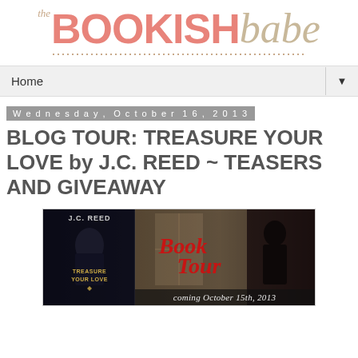[Figure (logo): The Bookish Babe blog logo with dotted line divider]
Home ▼
Wednesday, October 16, 2013
BLOG TOUR: TREASURE YOUR LOVE by J.C. REED ~ TEASERS AND GIVEAWAY
[Figure (photo): Book Tour banner for Treasure Your Love by J.C. Reed, showing book cover on left, 'Book Tour' text in red cursive center, silhouetted figure on right, text reads 'coming October 15th, 2013']